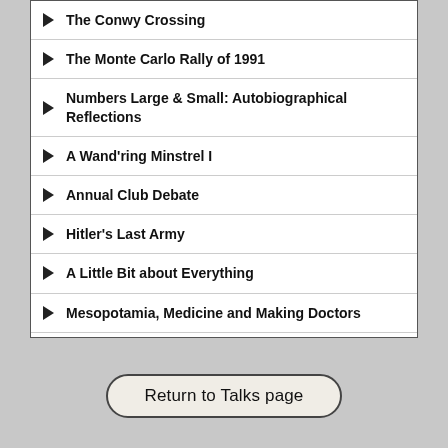The Conwy Crossing
The Monte Carlo Rally of 1991
Numbers Large & Small: Autobiographical Reflections
A Wand'ring Minstrel I
Annual Club Debate
Hitler's Last Army
A Little Bit about Everything
Mesopotamia, Medicine and Making Doctors
The Man who Delivered Nelson's coffin; The Story of a Naval Dirk
Return to Talks page